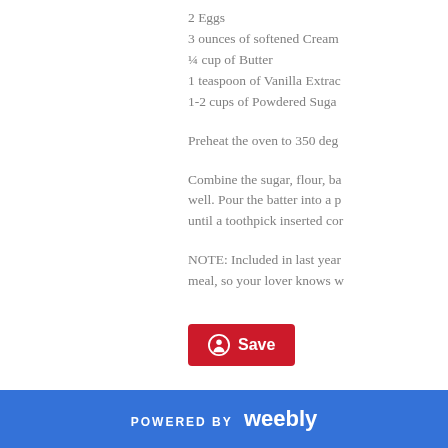2 Eggs
3 ounces of softened Cream
¼ cup of Butter
1 teaspoon of Vanilla Extrac
1-2 cups of Powdered Suga
Preheat the oven to 350 deg
Combine the sugar, flour, ba well. Pour the batter into a p until a toothpick inserted cor
NOTE: Included in last year meal, so your lover knows w
[Figure (other): Red Save button with Pinterest icon]
[Figure (other): Blue Tweet button with Twitter bird icon]
0 Comments
POWERED BY weebly